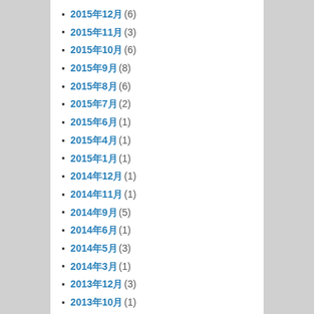2015年12月 (6)
2015年11月 (3)
2015年10月 (6)
2015年9月 (8)
2015年8月 (6)
2015年7月 (2)
2015年6月 (1)
2015年4月 (1)
2015年1月 (1)
2014年12月 (1)
2014年11月 (1)
2014年9月 (5)
2014年6月 (1)
2014年5月 (3)
2014年3月 (1)
2013年12月 (3)
2013年10月 (1)
2013年8月 (3)
2013年7月 (2)
2013年6月 (2)
2013年5月 (1)